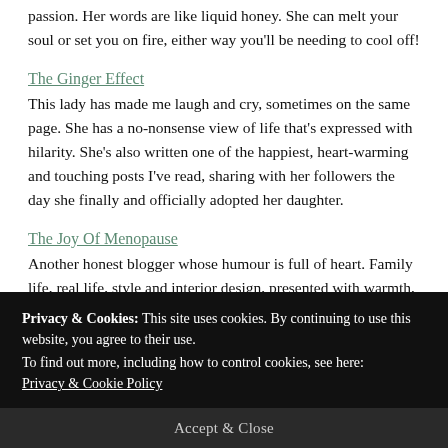passion. Her words are like liquid honey. She can melt your soul or set you on fire, either way you'll be needing to cool off!
The Ginger Effect
This lady has made me laugh and cry, sometimes on the same page. She has a no-nonsense view of life that's expressed with hilarity. She's also written one of the happiest, heart-warming and touching posts I've read, sharing with her followers the day she finally and officially adopted her daughter.
The Joy Of Menopause
Another honest blogger whose humour is full of heart. Family life, real life, style and interior design, presented with warmth,
Privacy & Cookies: This site uses cookies. By continuing to use this website, you agree to their use.
To find out more, including how to control cookies, see here: Privacy & Cookie Policy
Accept & Close